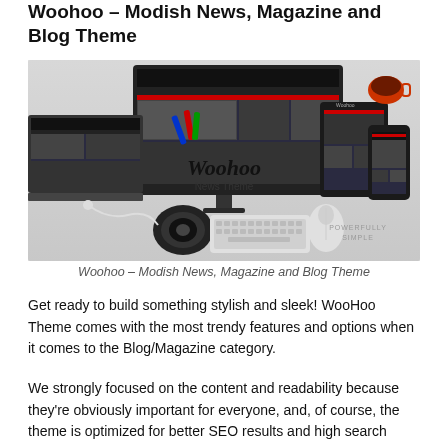Woohoo – Modish News, Magazine and Blog Theme
[Figure (screenshot): Screenshot of Woohoo News Theme shown on desktop iMac, laptop, tablet, and mobile phone devices on a desk with camera, keyboard, mouse, and coffee cup. Text reads 'Woohoo News Theme' and 'POWERFULLY SIMPLE'.]
Woohoo – Modish News, Magazine and Blog Theme
Get ready to build something stylish and sleek! WooHoo Theme comes with the most trendy features and options when it comes to the Blog/Magazine category.
We strongly focused on the content and readability because they're obviously important for everyone, and, of course, the theme is optimized for better SEO results and high search